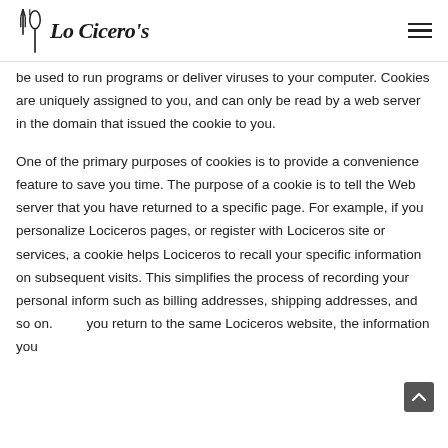Lo Cicero's
be used to run programs or deliver viruses to your computer. Cookies are uniquely assigned to you, and can only be read by a web server in the domain that issued the cookie to you.
One of the primary purposes of cookies is to provide a convenience feature to save you time. The purpose of a cookie is to tell the Web server that you have returned to a specific page. For example, if you personalize Lociceros pages, or register with Lociceros site or services, a cookie helps Lociceros to recall your specific information on subsequent visits. This simplifies the process of recording your personal inform such as billing addresses, shipping addresses, and so on. you return to the same Lociceros website, the information you